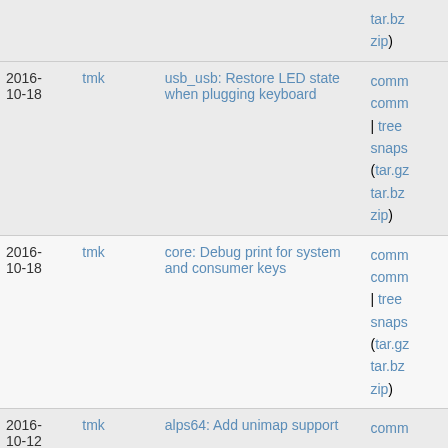| Date | Author | Commit message | Links |
| --- | --- | --- | --- |
|  |  |  | tar.bz
zip) |
| 2016-10-18 | tmk | usb_usb: Restore LED state when plugging keyboard | comm
comm
| tree
snaps
(tar.gz
tar.bz
zip) |
| 2016-10-18 | tmk | core: Debug print for system and consumer keys | comm
comm
| tree
snaps
(tar.gz
tar.bz
zip) |
| 2016-10-12 | tmk | alps64: Add unimap support | comm
comm
| tree
snaps
(tar.gz
tar.bz
zip) |